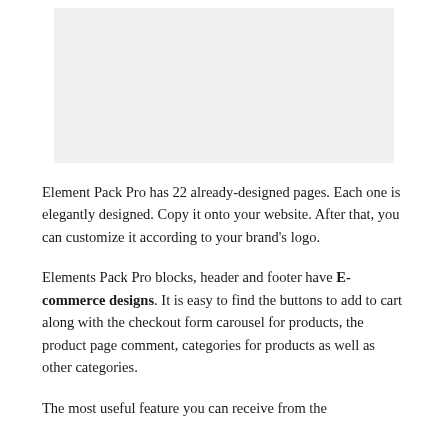[Figure (screenshot): Gray placeholder image area at the top of the page]
Element Pack Pro has 22 already-designed pages. Each one is elegantly designed. Copy it onto your website. After that, you can customize it according to your brand's logo.
Elements Pack Pro blocks, header and footer have E-commerce designs. It is easy to find the buttons to add to cart along with the checkout form carousel for products, the product page comment, categories for products as well as other categories.
The most useful feature you can receive from the